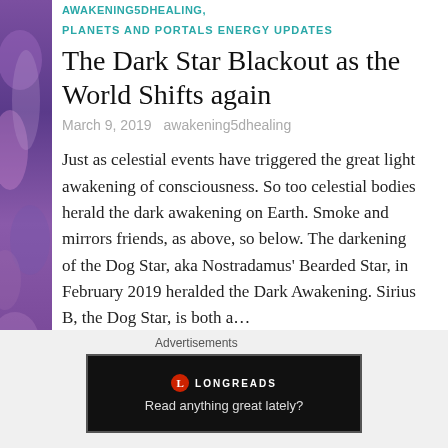AWAKENING5DHEALING,
PLANETS AND PORTALS ENERGY UPDATES
The Dark Star Blackout as the World Shifts again
March 9, 2019   awakening5dhealing
Just as celestial events have triggered the great light awakening of consciousness. So too celestial bodies herald the dark awakening on Earth. Smoke and mirrors friends, as above, so below. The darkening of the Dog Star, aka Nostradamus' Bearded Star, in February 2019 heralded the Dark Awakening. Sirius B, the Dog Star, is both a…
Continue reading
Advertisements
[Figure (screenshot): Longreads advertisement banner with red logo circle containing L, brand name LONGREADS, and tagline 'Read anything great lately?' on black background]